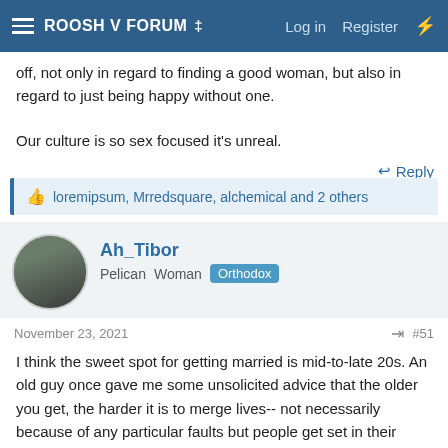ROOSH V FORUM ‡   Log in   Register
off, not only in regard to finding a good woman, but also in regard to just being happy without one.

Our culture is so sex focused it's unreal.
👍 loremipsum, Mrredsquare, alchemical and 2 others
Ah_Tibor
Pelican  Woman  Orthodox
November 23, 2021   #51
I think the sweet spot for getting married is mid-to-late 20s. An old guy once gave me some unsolicited advice that the older you get, the harder it is to merge lives-- not necessarily because of any particular faults but people get set in their ways by their 30s. We get used to our habits and routines, and it's much